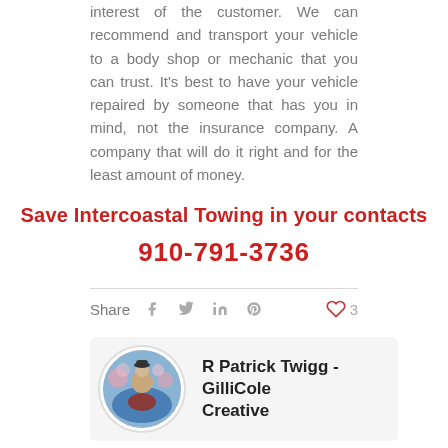interest of the customer. We can recommend and transport your vehicle to a body shop or mechanic that you can trust. It's best to have your vehicle repaired by someone that has you in mind, not the insurance company. A company that will do it right and for the least amount of money.
Save Intercoastal Towing in your contacts
910-791-3736
Share  [social icons]  ♥ 3
R Patrick Twigg - GilliCole Creative